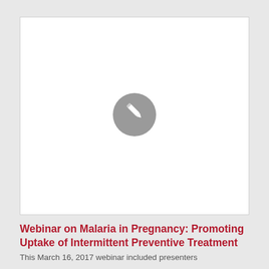[Figure (other): White rectangular image placeholder with a gray circular pencil/edit icon in the center]
Webinar on Malaria in Pregnancy: Promoting Uptake of Intermittent Preventive Treatment
This March 16, 2017 webinar included presenters